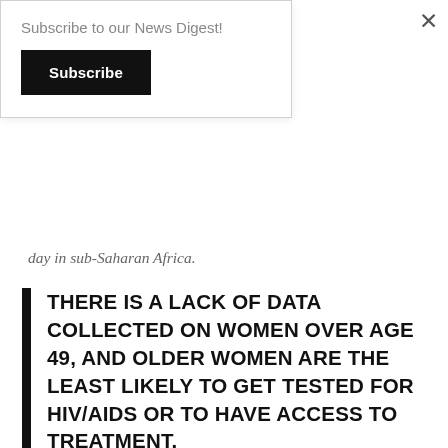Subscribe to our News Digest!
day in sub-Saharan Africa.
THERE IS A LACK OF DATA COLLECTED ON WOMEN OVER AGE 49, AND OLDER WOMEN ARE THE LEAST LIKELY TO GET TESTED FOR HIV/AIDS OR TO HAVE ACCESS TO TREATMENT.
HIV/AIDS has a high incidence in the female population, and affects all age groups. Of the many millions of people living with HIV infection in sub-Saharan Africa, 6 million are young people, and it is